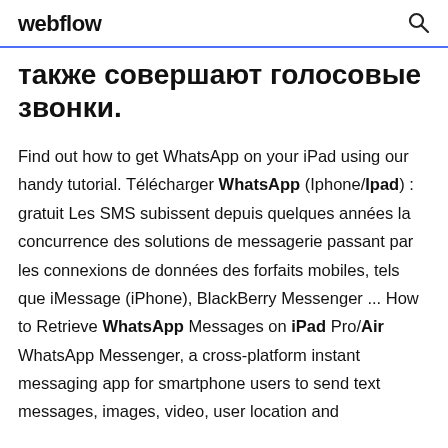webflow
также совершают голосовые звонки.
Find out how to get WhatsApp on your iPad using our handy tutorial. Télécharger WhatsApp (Iphone/Ipad) : gratuit Les SMS subissent depuis quelques années la concurrence des solutions de messagerie passant par les connexions de données des forfaits mobiles, tels que iMessage (iPhone), BlackBerry Messenger ... How to Retrieve WhatsApp Messages on iPad Pro/Air WhatsApp Messenger, a cross-platform instant messaging app for smartphone users to send text messages, images, video, user location and